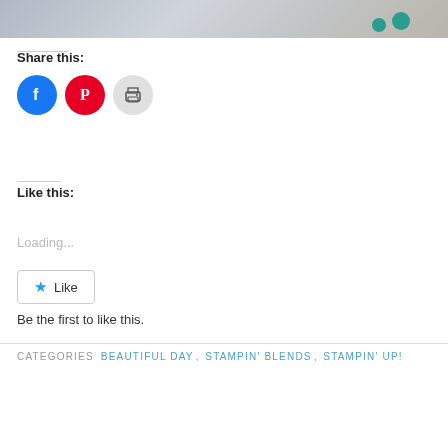[Figure (photo): Partial photo of a crafting project with teal circular embellishments on a light background]
Share this:
[Figure (infographic): Social sharing icons: Facebook (blue circle), Pinterest (red circle), Print (gray circle)]
Like this:
Loading...
Like
Be the first to like this.
CATEGORIES  BEAUTIFUL DAY, STAMPIN' BLENDS, STAMPIN' UP!